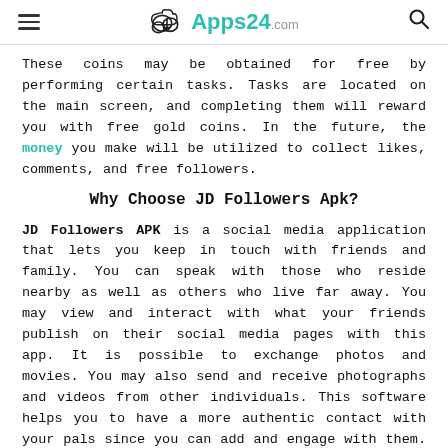≡  Apps24.com  🔍
These coins may be obtained for free by performing certain tasks. Tasks are located on the main screen, and completing them will reward you with free gold coins. In the future, the money you make will be utilized to collect likes, comments, and free followers.
Why Choose JD Followers Apk?
JD Followers APK is a social media application that lets you keep in touch with friends and family. You can speak with those who reside nearby as well as others who live far away. You may view and interact with what your friends publish on their social media pages with this app. It is possible to exchange photos and movies. You may also send and receive photographs and videos from other individuals. This software helps you to have a more authentic contact with your pals since you can add and engage with them. You may even choose to offer a virtual high-five to your friends while watching a movie.